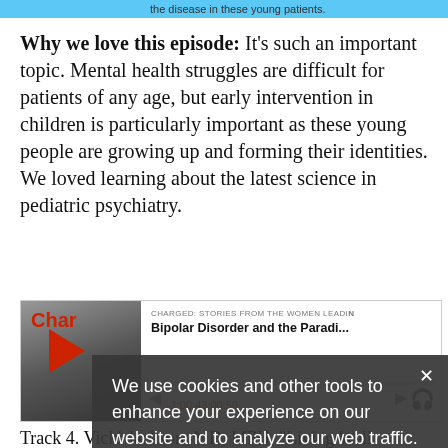the disease in these young patients.
Why we love this episode: It's such an important topic. Mental health struggles are difficult for patients of any age, but early intervention in children is particularly important as these young people are growing up and forming their identities. We loved learning about the latest science in pediatric psychiatry.
[Figure (screenshot): Podcast player card showing 'CHARGED: STORIES FROM THE WOMEN LEADIN...' with title 'Bipolar Disorder and the Paradi...' and a play button with progress bar showing timestamp -1:00:43:00:50]
Track 4. Vicki Jackson, MD, MPH, "Living Well Through Palliative Care"
We use cookies and other tools to enhance your experience on our website and to analyze our web traffic. For more information about these cookies and the data collected, please refer to our Privacy Policy.
What this episode is about: The success of palliative